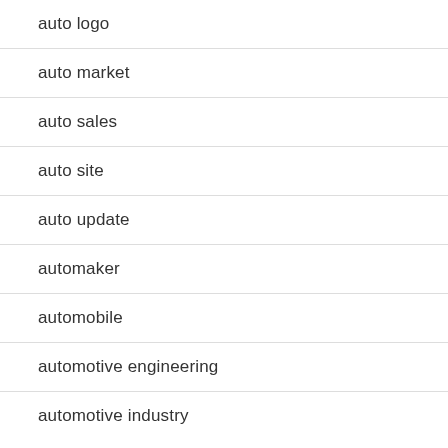auto logo
auto market
auto sales
auto site
auto update
automaker
automobile
automotive engineering
automotive industry